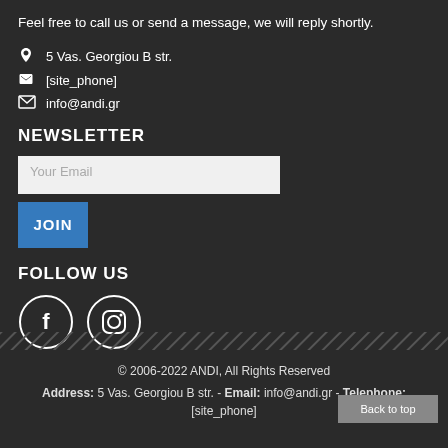Feel free to call us or send a message, we will reply shortly.
5 Vas. Georgiou B str.
[site_phone]
info@andi.gr
NEWSLETTER
Your Email [input field]
JOIN [button]
FOLLOW US
[Figure (illustration): Facebook and Instagram social media icons in circles]
© 2006-2022 ANDI, All Rights Reserved  Address: 5 Vas. Georgiou B str. - Email: info@andi.gr - Telephone: [site_phone]  Back to top